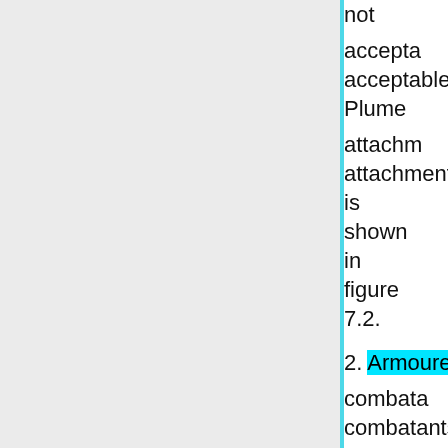not acceptable. Plume attachment is shown in figure 7.2.
2. Armoured combatants and non-combatants must not wear any kind of